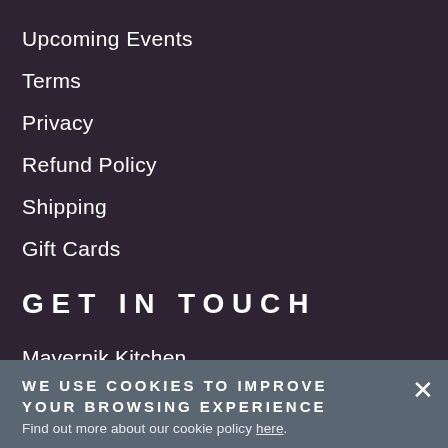Upcoming Events
Terms
Privacy
Refund Policy
Shipping
Gift Cards
GET IN TOUCH
Mayernik Kitchen
612 Newark Pompton Turnpike
Pompton Plains, NJ 07444
WE USE COOKIES TO IMPROVE YOUR BROWSING EXPERIENCE
Find out more about our cookie policy here.